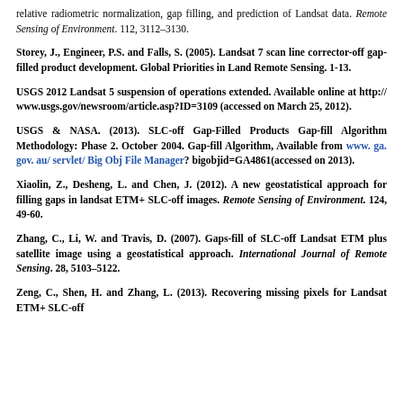relative radiometric normalization, gap filling, and prediction of Landsat data. Remote Sensing of Environment. 112, 3112–3130.
Storey, J., Engineer, P.S. and Falls, S. (2005). Landsat 7 scan line corrector-off gap-filled product development. Global Priorities in Land Remote Sensing. 1-13.
USGS 2012 Landsat 5 suspension of operations extended. Available online at http:// www.usgs.gov/newsroom/article.asp?ID=3109 (accessed on March 25, 2012).
USGS & NASA. (2013). SLC-off Gap-Filled Products Gap-fill Algorithm Methodology: Phase 2. October 2004. Gap-fill Algorithm, Available from www. ga. gov. au/ servlet/ Big Obj File Manager? bigobjid=GA4861(accessed on 2013).
Xiaolin, Z., Desheng, L. and Chen, J. (2012). A new geostatistical approach for filling gaps in landsat ETM+ SLC-off images. Remote Sensing of Environment. 124, 49-60.
Zhang, C., Li, W. and Travis, D. (2007). Gaps-fill of SLC-off Landsat ETM plus satellite image using a geostatistical approach. International Journal of Remote Sensing. 28, 5103–5122.
Zeng, C., Shen, H. and Zhang, L. (2013). Recovering missing pixels for Landsat ETM+ SLC-off